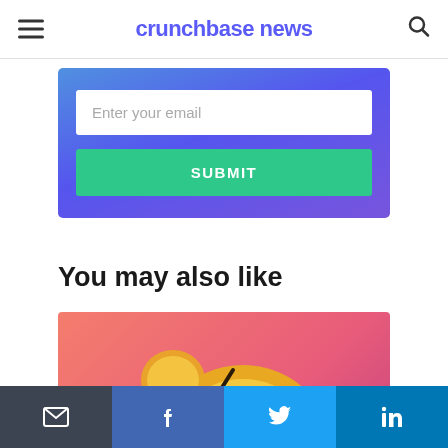crunchbase news
[Figure (screenshot): Email newsletter signup form with gradient blue/purple background, white email input field and green SUBMIT button]
You may also like
[Figure (illustration): Broken Bitcoin coin illustration on pink/red gradient background]
[Figure (infographic): Social share bar with email, Facebook, Twitter, and LinkedIn buttons]